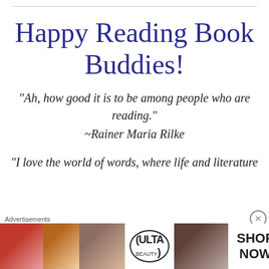Happy Reading Book Buddies!
“Ah, how good it is to be among people who are reading.”
~Rainer Maria Rilke
“I love the world of words, where life and literature
[Figure (advertisement): Ulta Beauty advertisement banner with cosmetic images (lips, makeup brush, eye, Ulta logo, eye closeup) and SHOP NOW button]
Advertisements